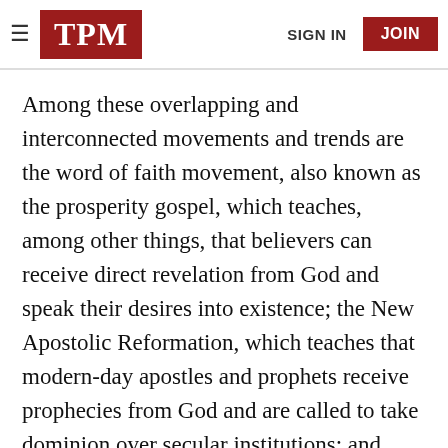TPM | SIGN IN | JOIN
Among these overlapping and interconnected movements and trends are the word of faith movement, also known as the prosperity gospel, which teaches, among other things, that believers can receive direct revelation from God and speak their desires into existence; the New Apostolic Reformation, which teaches that modern-day apostles and prophets receive prophecies from God and are called to take dominion over secular institutions; and seven mountains theology, which holds that Christians have a divine directive to take over the “seven mountains” of public life, namely